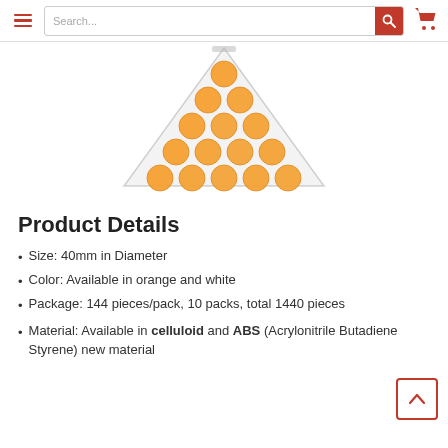Search...
[Figure (photo): A clear plastic bag containing orange ping pong balls, shown in a triangular arrangement viewed from above on a white background.]
Product Details
Size: 40mm in Diameter
Color: Available in orange and white
Package: 144 pieces/pack, 10 packs, total 1440 pieces
Material: Available in celluloid and ABS (Acrylonitrile Butadiene Styrene) new material